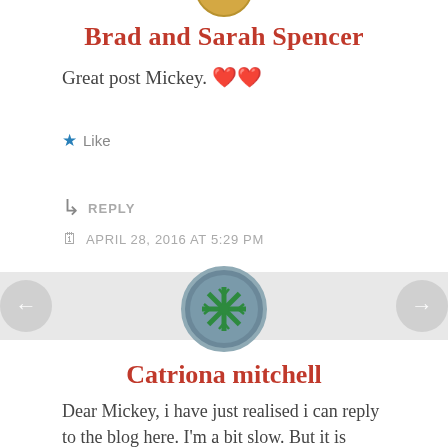[Figure (illustration): Partial avatar icon visible at top of page]
Brad and Sarah Spencer
Great post Mickey. ❤️❤️
★ Like
↳ REPLY
📅 APRIL 28, 2016 AT 5:29 PM
[Figure (illustration): Navigation left arrow button (gray circle)]
[Figure (illustration): Navigation right arrow button (gray circle)]
[Figure (illustration): Circular avatar with green snowflake/asterisk pattern on gray background separator bar]
Catriona mitchell
Dear Mickey, i have just realised i can reply to the blog here. I'm a bit slow. But it is great to here and